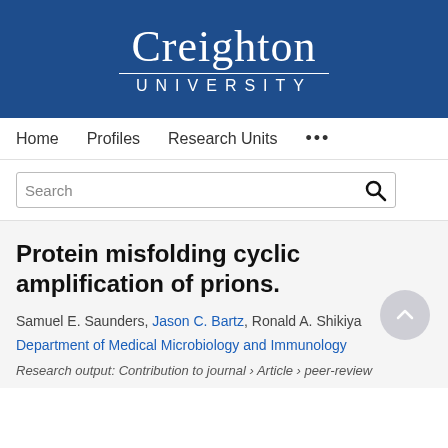[Figure (logo): Creighton University logo — white serif text on dark blue background]
Home  Profiles  Research Units  ...
Search
Protein misfolding cyclic amplification of prions.
Samuel E. Saunders, Jason C. Bartz, Ronald A. Shikiya
Department of Medical Microbiology and Immunology
Research output: Contribution to journal › Article › peer-review